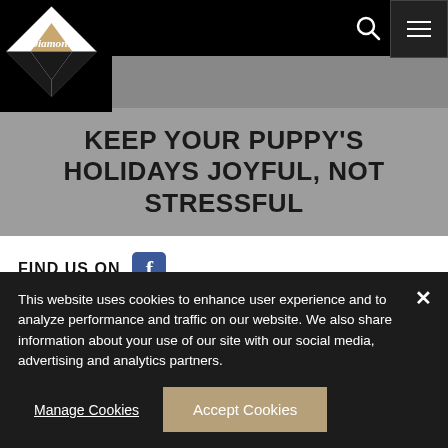[Figure (logo): Diamond Pet Foods logo — diamond shape with gold/tan triangle, text 'Diamond' in white serif font on black background]
KEEP YOUR PUPPY'S HOLIDAYS JOYFUL, NOT STRESSFUL
FIND US ON
[Figure (logo): Facebook icon — blue rounded square with white 'f']
[Figure (other): Partial search/magnifying glass circle visible at top of cookie banner section]
This website uses cookies to enhance user experience and to analyze performance and traffic on our website. We also share information about your use of our site with our social media, advertising and analytics partners.
Manage Cookies
Accept Cookies